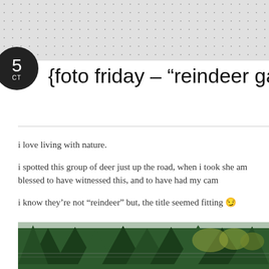[Figure (other): Top gray banner with polka dot pattern background]
{foto friday – "reindeer gam
i love living with nature.
i spotted this group of deer just up the road, when i took she am blessed to have witnessed this, and to have had my cam
i know they're not "reindeer" but, the title seemed fitting 😉
[Figure (photo): Photo of dense green conifer trees with a chain-link fence visible in background]